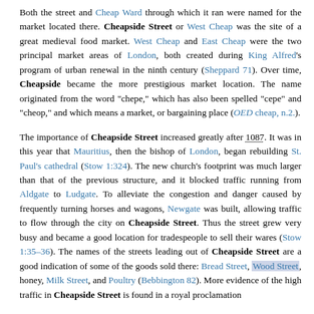Both the street and Cheap Ward through which it ran were named for the market located there. Cheapside Street or West Cheap was the site of a great medieval food market. West Cheap and East Cheap were the two principal market areas of London, both created during King Alfred's program of urban renewal in the ninth century (Sheppard 71). Over time, Cheapside became the more prestigious market location. The name originated from the word "chepe," which has also been spelled "cepe" and "cheop," and which means a market, or bargaining place (OED cheap, n.2.).
The importance of Cheapside Street increased greatly after 1087. It was in this year that Mauritius, then the bishop of London, began rebuilding St. Paul's cathedral (Stow 1:324). The new church's footprint was much larger than that of the previous structure, and it blocked traffic running from Aldgate to Ludgate. To alleviate the congestion and danger caused by frequently turning horses and wagons, Newgate was built, allowing traffic to flow through the city on Cheapside Street. Thus the street grew very busy and became a good location for tradespeople to sell their wares (Stow 1:35–36). The names of the streets leading out of Cheapside Street are a good indication of some of the goods sold there: Bread Street, Wood Street, honey, Milk Street, and Poultry (Bebbington 82). More evidence of the high traffic in Cheapside Street is found in a royal proclamation